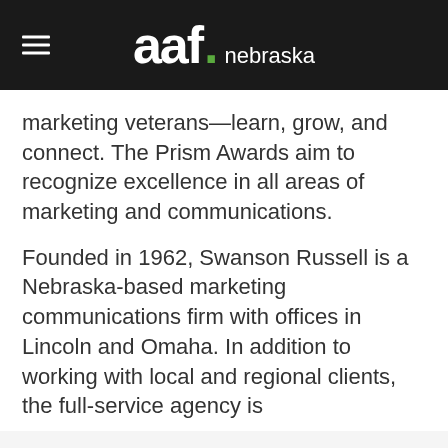aaf. nebraska
marketing veterans—learn, grow, and connect. The Prism Awards aim to recognize excellence in all areas of marketing and communications.
Founded in 1962, Swanson Russell is a Nebraska-based marketing communications firm with offices in Lincoln and Omaha. In addition to working with local and regional clients, the full-service agency is
We use cookies on our website to give you the most relevant experience by remembering your preferences and repeat visits. By clicking “Accept All”, you consent to the use of ALL the cookies.